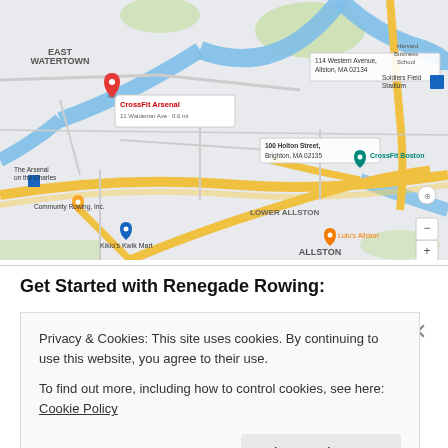[Figure (map): Google Maps screenshot showing the Watertown/Allston/Brighton area of Boston, MA. A red pin marks CrossFit Arsenal. Other landmarks visible include CrossFit Boston, The Arsenal on the Charles, Community Rowing Inc, Lulu's Allston, Kikis Kwik Mart, Soldiers Field Stadium, Harvard Business School. The Charles River is visible with blue waterways and yellow highway roads.]
Get Started with Renegade Rowing:
Privacy & Cookies: This site uses cookies. By continuing to use this website, you agree to their use.
To find out more, including how to control cookies, see here: Cookie Policy
Close and accept